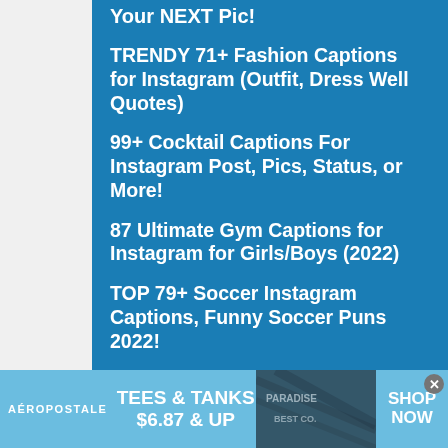Your NEXT Pic!
TRENDY 71+ Fashion Captions for Instagram (Outfit, Dress Well Quotes)
99+ Cocktail Captions For Instagram Post, Pics, Status, or More!
87 Ultimate Gym Captions for Instagram for Girls/Boys (2022)
TOP 79+ Soccer Instagram Captions, Funny Soccer Puns 2022!
[Figure (screenshot): Aéropostale advertisement banner: TEES & TANKS $6.87 & UP with SHOP NOW call to action and photo of clothing]